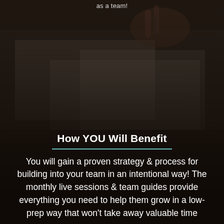[Figure (photo): Dark background photo of hands writing on paper documents, viewed from above, with a dark overlay gradient]
as a team!
How YOU Will Benefit
You will gain a proven strategy & process for building into your team in an intentional way! The monthly live sessions & team guides provide everything you need to help them grow in a low-prep way that won't take away valuable time